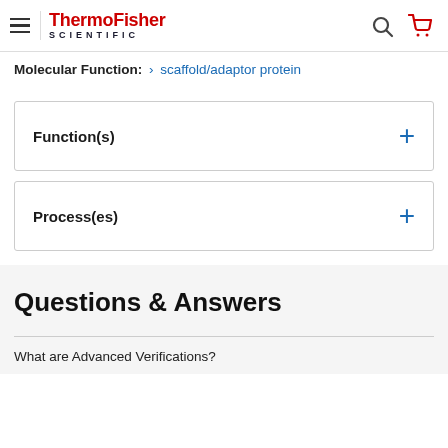ThermoFisher SCIENTIFIC
Molecular Function: > scaffold/adaptor protein
Function(s) +
Process(es) +
Questions & Answers
What are Advanced Verifications?